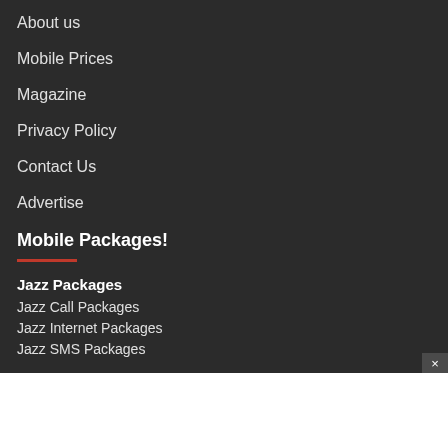About us
Mobile Prices
Magazine
Privacy Policy
Contact Us
Advertise
Mobile Packages!
Jazz Packages
Jazz Call Packages
Jazz Internet Packages
Jazz SMS Packages